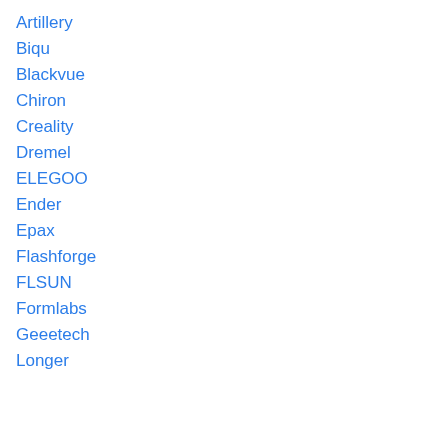Artillery
Biqu
Blackvue
Chiron
Creality
Dremel
ELEGOO
Ender
Epax
Flashforge
FLSUN
Formlabs
Geeetech
Longer